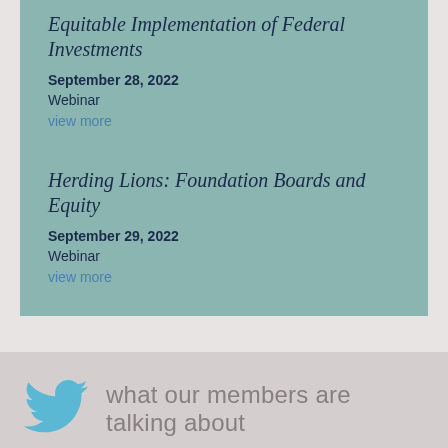Equitable Implementation of Federal Investments
September 28, 2022
Webinar
view more
Herding Lions: Foundation Boards and Equity
September 29, 2022
Webinar
view more
[Figure (logo): Twitter bird logo in light blue]
what our members are talking about